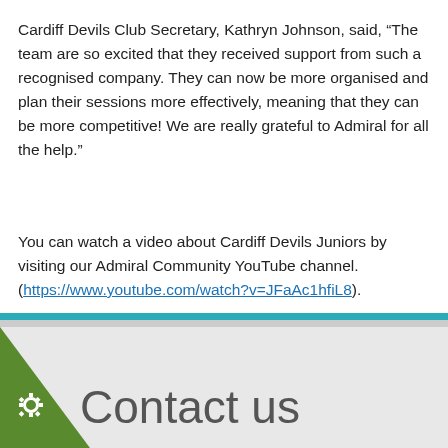Cardiff Devils Club Secretary, Kathryn Johnson, said, “The team are so excited that they received support from such a recognised company. They can now be more organised and plan their sessions more effectively, meaning that they can be more competitive! We are really grateful to Admiral for all the help.”
You can watch a video about Cardiff Devils Juniors by visiting our Admiral Community YouTube channel. (https://www.youtube.com/watch?v=JFaAc1hfiL8).
Contact us